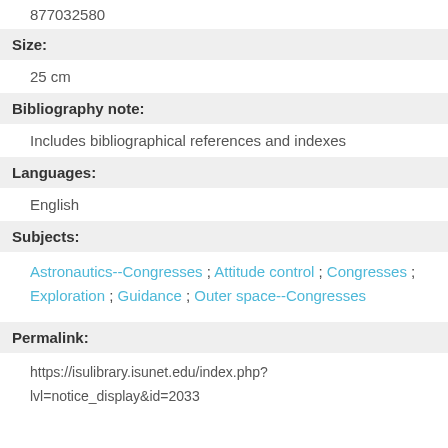877032580
Size:
25 cm
Bibliography note:
Includes bibliographical references and indexes
Languages:
English
Subjects:
Astronautics--Congresses ; Attitude control ; Congresses ; Exploration ; Guidance ; Outer space--Congresses
Permalink:
https://isulibrary.isunet.edu/index.php?lvl=notice_display&id=2033